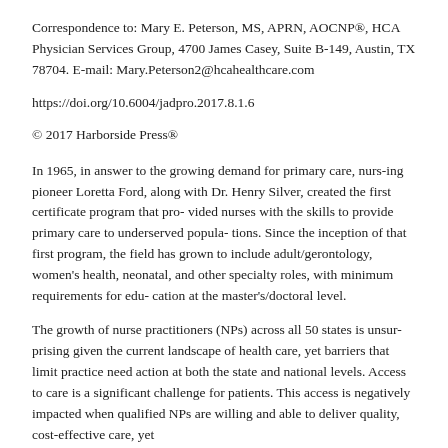Correspondence to: Mary E. Peterson, MS, APRN, AOCNP®, HCA Physician Services Group, 4700 James Casey, Suite B-149, Austin, TX 78704. E-mail: Mary.Peterson2@hcahealthcare.com
https://doi.org/10.6004/jadpro.2017.8.1.6
© 2017 Harborside Press®
In 1965, in answer to the growing demand for primary care, nurs-ing pioneer Loretta Ford, along with Dr. Henry Silver, created the first certificate program that pro- vided nurses with the skills to provide primary care to underserved popula- tions. Since the inception of that first program, the field has grown to include adult/gerontology, women's health, neonatal, and other specialty roles, with minimum requirements for edu- cation at the master's/doctoral level.
The growth of nurse practitioners (NPs) across all 50 states is unsur- prising given the current landscape of health care, yet barriers that limit practice need action at both the state and national levels. Access to care is a significant challenge for patients. This access is negatively impacted when qualified NPs are willing and able to deliver quality, cost-effective care, yet